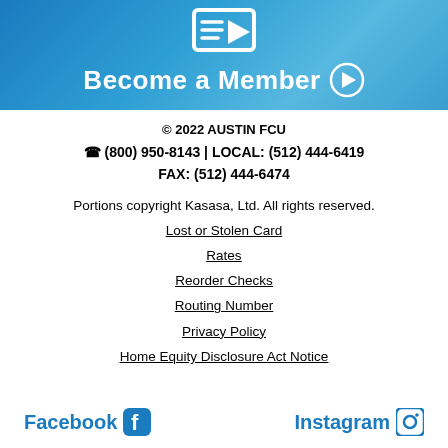[Figure (illustration): Blue banner with envelope/email icon and 'Become a Member' call-to-action button with arrow circle]
© 2022 AUSTIN FCU
☎ (800) 950-8143 | LOCAL: (512) 444-6419
FAX: (512) 444-6474
Portions copyright Kasasa, Ltd. All rights reserved.
Lost or Stolen Card
Rates
Reorder Checks
Routing Number
Privacy Policy
Home Equity Disclosure Act Notice
Facebook  Instagram